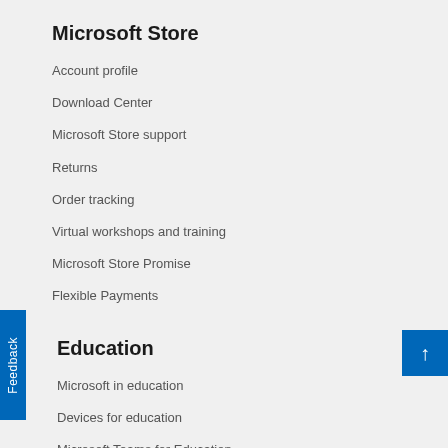Microsoft Store
Account profile
Download Center
Microsoft Store support
Returns
Order tracking
Virtual workshops and training
Microsoft Store Promise
Flexible Payments
Education
Microsoft in education
Devices for education
Microsoft Teams for Education